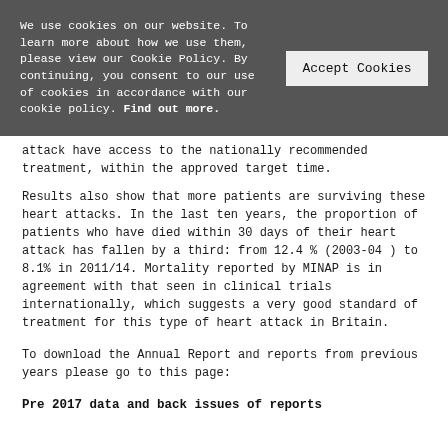We use cookies on our website. To learn more about how we use them, please view our Cookie Policy. By continuing, you consent to our use of cookies in accordance with our cookie policy. Find out more.
attack have access to the nationally recommended treatment, within the approved target time.
Results also show that more patients are surviving these heart attacks. In the last ten years, the proportion of patients who have died within 30 days of their heart attack has fallen by a third: from 12.4 % (2003-04 ) to 8.1% in 2011/14. Mortality reported by MINAP is in agreement with that seen in clinical trials internationally, which suggests a very good standard of treatment for this type of heart attack in Britain.
To download the Annual Report and reports from previous years please go to this page:
Pre 2017 data and back issues of reports